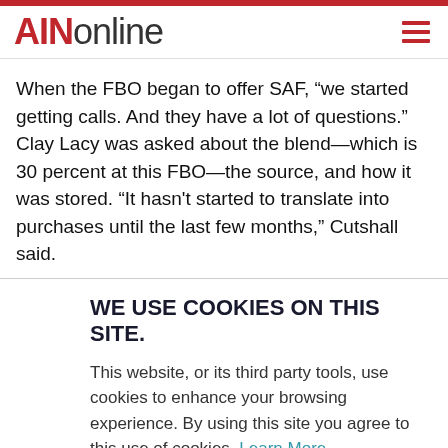AINonline
When the FBO began to offer SAF, “we started getting calls. And they have a lot of questions.” Clay Lacy was asked about the blend—which is 30 percent at this FBO—the source, and how it was stored. “It hasn’t started to translate into purchases until the last few months,” Cutshall said.
WE USE COOKIES ON THIS SITE.
This website, or its third party tools, use cookies to enhance your browsing experience. By using this site you agree to this use of cookies. Learn More
ACCEPT